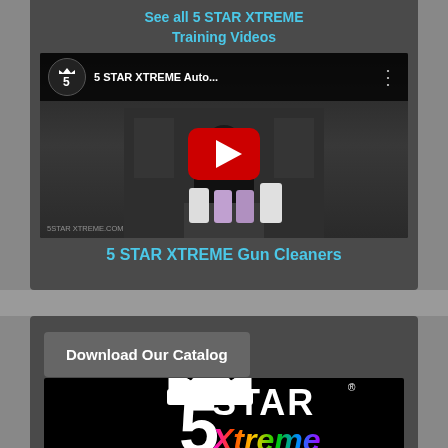See all 5 STAR XTREME Training Videos
[Figure (screenshot): YouTube video embed showing 5 STAR XTREME Auto... channel with a person and auto body products, red play button overlay]
5 STAR XTREME Gun Cleaners
Download Our Catalog
[Figure (logo): 5 STAR Xtreme Autobody Products logo on black background with rainbow-colored Xtreme text and crown above the 5]